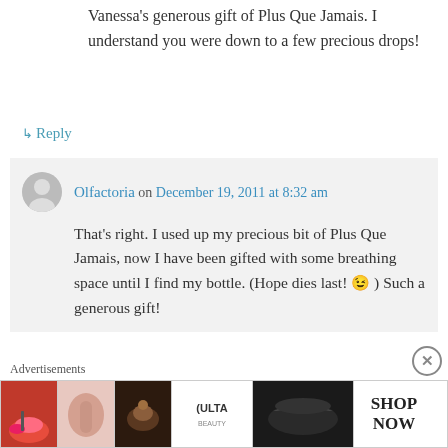Vanessa's generous gift of Plus Que Jamais. I understand you were down to a few precious drops!
↳ Reply
Olfactoria on December 19, 2011 at 8:32 am
That's right. I used up my precious bit of Plus Que Jamais, now I have been gifted with some breathing space until I find my bottle. (Hope dies last! 😉 ) Such a generous gift!
Advertisements